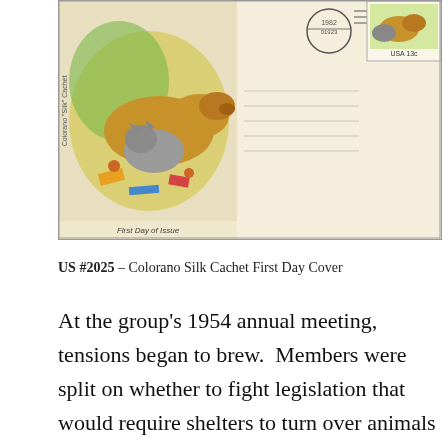[Figure (photo): US #2025 Colorano Silk Cachet First Day Cover showing illustrated dogs and cats playing, with a postmark dated 1982 and a USA 13c stamp showing animals.]
US #2025 – Colorano Silk Cachet First Day Cover
At the group's 1954 annual meeting, tensions began to brew.  Members were split on whether to fight legislation that would require shelters to turn over animals to be used for research.  Those who opposed the legislation splintered off and formed the National Humane Society on November 22, 1954, with the goal of eliminating all forms of cruelty and injustice to animals.  Their major concerns were how animals